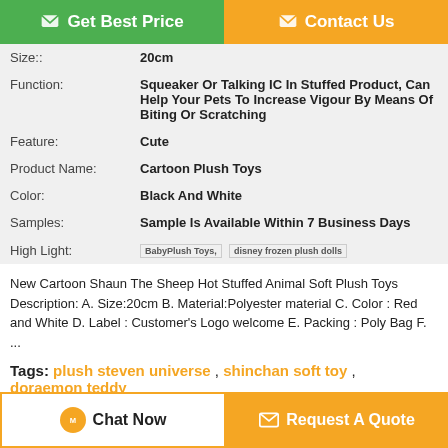[Figure (other): Two buttons: Get Best Price (green) and Contact Us (orange)]
| Size:: | 20cm |
| Function: | Squeaker Or Talking IC In Stuffed Product, Can Help Your Pets To Increase Vigour By Means Of Biting Or Scratching |
| Feature: | Cute |
| Product Name: | Cartoon Plush Toys |
| Color: | Black And White |
| Samples: | Sample Is Available Within 7 Business Days |
| High Light: | BabyPlush Toys,  disney frozen plush dolls |
New Cartoon Shaun The Sheep Hot Stuffed Animal Soft Plush Toys Description: A. Size:20cm B. Material:Polyester material C. Color : Red and White D. Label : Customer's Logo welcome E. Packing : Poly Bag F. ...
Tags: plush steven universe , shinchan soft toy , doraemon teddy
Product Description >
[Figure (other): Two bottom buttons: Chat Now and Request A Quote]